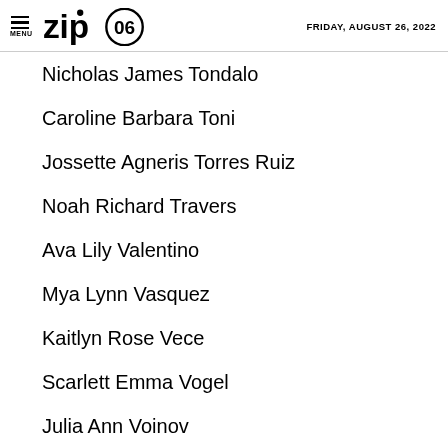MENU | zip06 | FRIDAY, AUGUST 26, 2022
Nicholas James Tondalo
Caroline Barbara Toni
Jossette Agneris Torres Ruiz
Noah Richard Travers
Ava Lily Valentino
Mya Lynn Vasquez
Kaitlyn Rose Vece
Scarlett Emma Vogel
Julia Ann Voinov